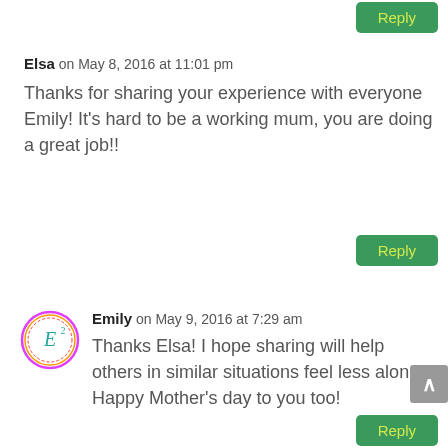[Figure (other): Green Reply button at top-right, partially visible]
Elsa on May 8, 2016 at 11:01 pm
Thanks for sharing your experience with everyone Emily! It's hard to be a working mum, you are doing a great job!!
[Figure (other): Green Reply button below Elsa's comment]
[Figure (other): Avatar circle logo for Emily (E squared symbol with colorful outline)]
Emily on May 9, 2016 at 7:29 am
Thanks Elsa! I hope sharing will help others in similar situations feel less alone. Happy Mother's day to you too!
[Figure (other): Gray scroll-to-top button with caret]
[Figure (other): Green Reply button below Emily's comment, partially visible]